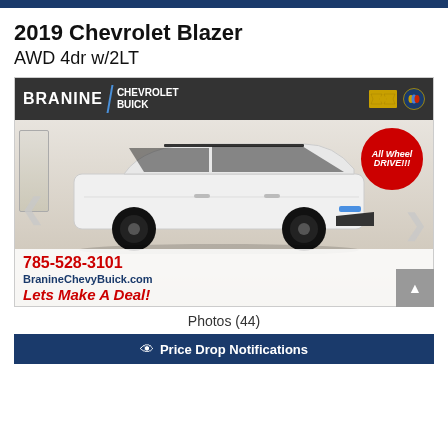2019 Chevrolet Blazer
AWD 4dr w/2LT
[Figure (photo): Dealership photo of a white 2019 Chevrolet Blazer AWD SUV parked indoors at Branine Chevrolet Buick dealership. The photo includes a dealer header with 'BRANINE CHEVROLET BUICK' branding and logos, an 'All Wheel DRIVE!!!' badge in red, and overlay text showing phone number 785-528-3101, website BranineChevyBuick.com, and text 'Lets Make A Deal!']
Photos (44)
Price Drop Notifications